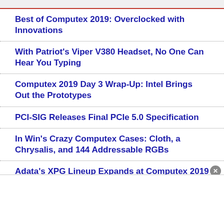Best of Computex 2019: Overclocked with Innovations
With Patriot's Viper V380 Headset, No One Can Hear You Typing
Computex 2019 Day 3 Wrap-Up: Intel Brings Out the Prototypes
PCI-SIG Releases Final PCIe 5.0 Specification
In Win's Crazy Computex Cases: Cloth, a Chrysalis, and 144 Addressable RGBs
Adata's XPG Lineup Expands at Computex 2019
NXP Acquires Marvell's Wi-Fi and Bluetooth Business for $1.76B
Report: DRAM Market Prices and Volume Fell in